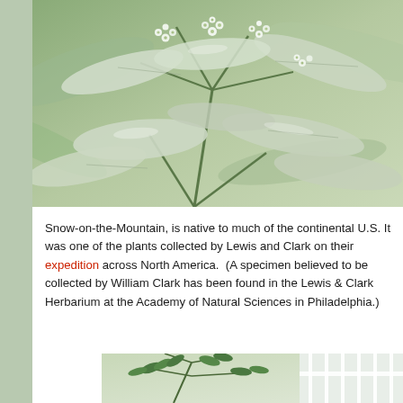[Figure (photo): Close-up photograph of Snow-on-the-Mountain plant showing silver-green leaves and small white flowers with green centers]
Snow-on-the-Mountain, is native to much of the continental U.S. It was one of the plants collected by Lewis and Clark on their expedition across North America.  (A specimen believed to be collected by William Clark has been found in the Lewis & Clark Herbarium at the Academy of Natural Sciences in Philadelphia.)
[Figure (photo): Partial photograph of a plant with compound leaves near what appears to be a building with white railings]